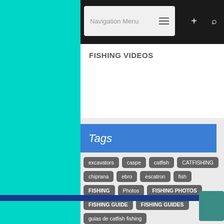Navigation Menu
FISHING VIDEOS
Tags
excavators
caspe
catfish
CATFISHING
chiprana
ebro
escatron
fish
FISHING
Photos
FISHING PHOTOS
FISHING GUIDE
FISHING GUIDES
guias de catfish fishing
CATFISH FISHING GUIDES TO RELEASED
GUIAS DE CATFISH FISHING IN PELLETS
guide
thrown out
Lorenzo Martinez